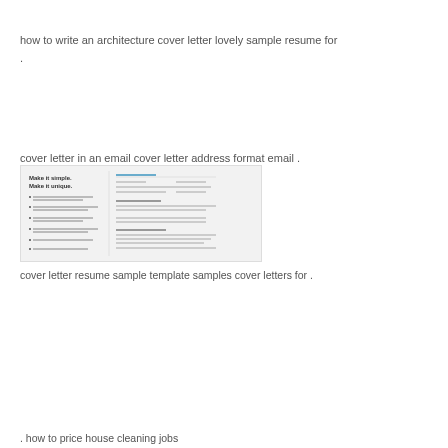how to write an architecture cover letter lovely sample resume for
.
cover letter in an email cover letter address format email .
[Figure (screenshot): Screenshot of a resume template with text 'Make it simple. Make it unique.' on the left side and columns of resume content on the right.]
cover letter resume sample template samples cover letters for .
. how to price house cleaning jobs